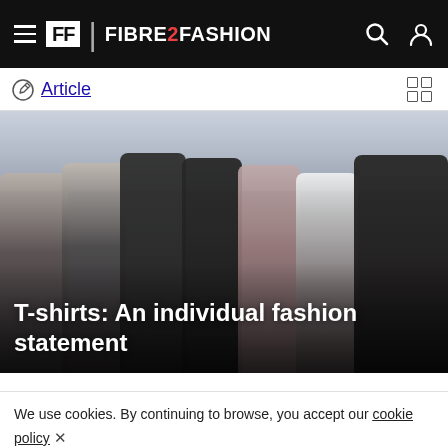FIBRE2FASHION
Article
[Figure (photo): Group of eight fashionably dressed people walking together outdoors wearing t-shirts with slogans such as 'Love is the Essence', 'Love is Love', 'We're Still Here', 'I Am an Immigrant', 'We Will Not Be Silenced', 'The Future is Female']
T-shirts: An individual fashion statement
We use cookies. By continuing to browse, you accept our cookie policy or can change your settings.  got it